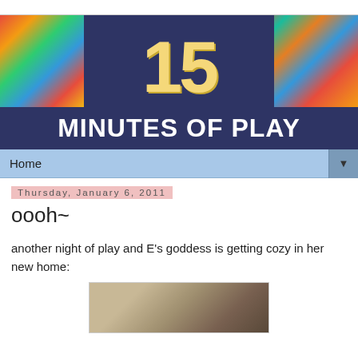[Figure (illustration): Blog header banner for '15 Minutes of Play' showing colorful patchwork quilt in background with large '15' number in dark navy center box and 'MINUTES OF PLAY' text in white bold letters on navy bar]
Home
Thursday, January 6, 2011
oooh~
another night of play and E's goddess is getting cozy in her new home:
[Figure (photo): Partial photo of what appears to be a fabric or plush item on a surface]